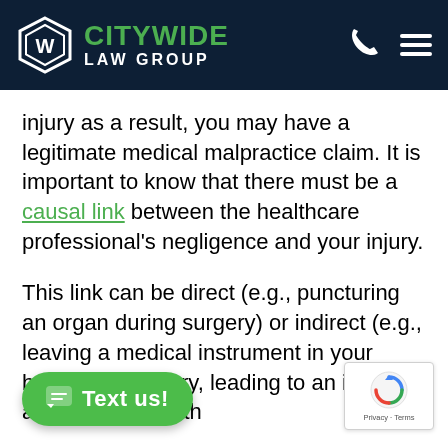[Figure (logo): Citywide Law Group logo with hexagonal emblem, green CITYWIDE text and white LAW GROUP text on dark navy header, with phone and hamburger menu icons]
injury as a result, you may have a legitimate medical malpractice claim. It is important to know that there must be a causal link between the healthcare professional's negligence and your injury.
This link can be direct (e.g., puncturing an organ during surgery) or indirect (e.g., leaving a medical instrument in your body after surgery, leading to an infection at some point in th...